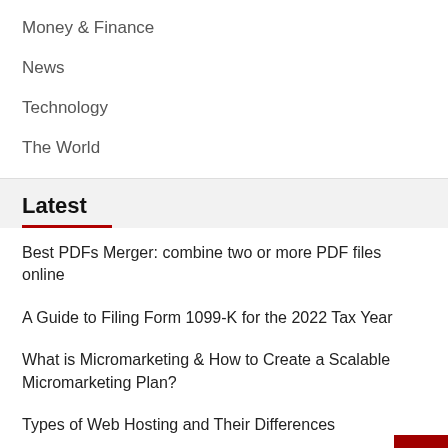Money & Finance
News
Technology
The World
Latest
Best PDFs Merger: combine two or more PDF files online
A Guide to Filing Form 1099-K for the 2022 Tax Year
What is Micromarketing & How to Create a Scalable Micromarketing Plan?
Types of Web Hosting and Their Differences
COVID-19 and Entrepreneurship: A Changing World